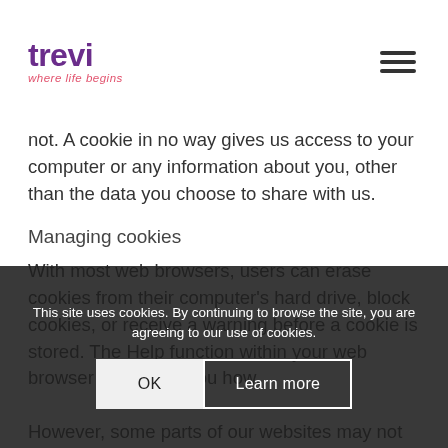trevi where life begins
not. A cookie in no way gives us access to your computer or any information about you, other than the data you choose to share with us.
Managing cookies
With most web browsers, users can erase cookies from their computer's hard drive, block cookies, or receive a warning before a cookie is stored. The Help function within your web browser should tell you how.
However, some parts of our websites may not function fully if you disallow cookies. Further information about deleting or controlling cookies can be obtained at
This site uses cookies. By continuing to browse the site, you are agreeing to our use of cookies.